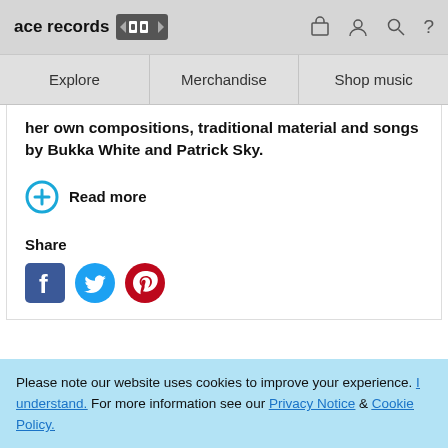ace records [logo]  [cart] [user] [search] [?]
Explore   Merchandise   Shop music
her own compositions, traditional material and songs by Bukka White and Patrick Sky.
Read more
Share
[Figure (illustration): Facebook, Twitter, and Pinterest social media icons]
Please note our website uses cookies to improve your experience. I understand. For more information see our Privacy Notice & Cookie Policy.